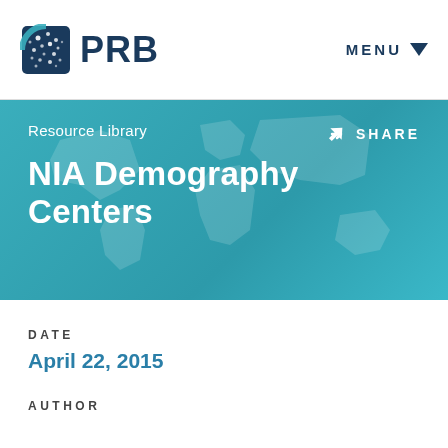[Figure (logo): PRB (Population Reference Bureau) logo with globe icon and PRB text]
MENU
[Figure (infographic): Teal hero banner with world map background showing 'Resource Library' and 'NIA Demography Centers' title with SHARE button]
NIA Demography Centers
Resource Library
SHARE
DATE
April 22, 2015
AUTHOR